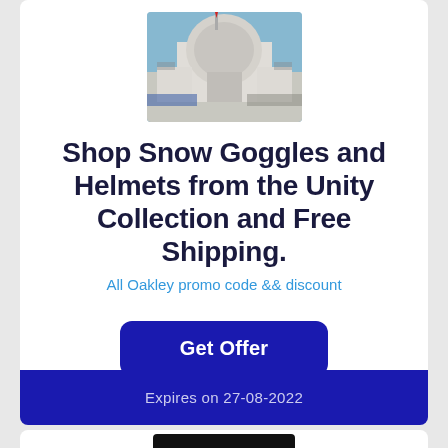[Figure (photo): Exterior photo of a building with a dome-like geodesic structure and parked cars in front, blue sky background]
Shop Snow Goggles and Helmets from the Unity Collection and Free Shipping.
All Oakley promo code && discount
Get Offer
Expires on 27-08-2022